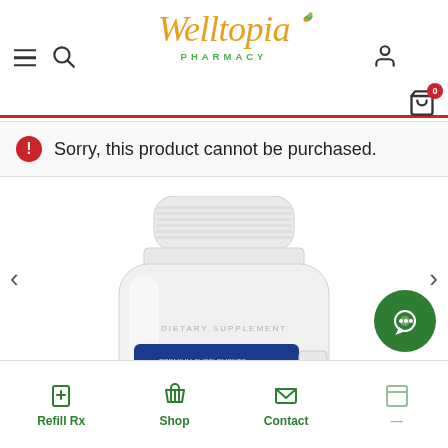[Figure (logo): Welltopia Pharmacy logo in orange italic script with green PHARMACY text below]
Sorry, this product cannot be purchased.
[Figure (photo): White supplement bottle from Pure Encapsulations brand, showing the cap and upper portion of the bottle with the blue Pure Encapsulations label visible]
Refill Rx  Shop  Contact